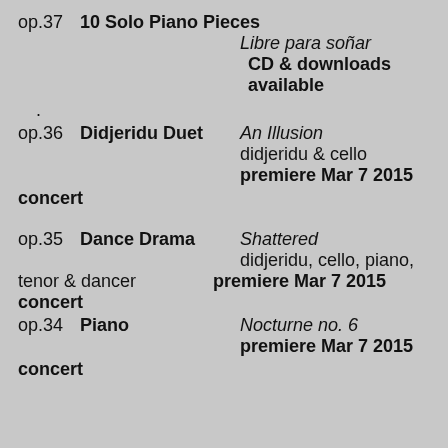op.37   10 Solo Piano Pieces   Libre para soñar   CD & downloads available
.
op.36   Didjeridu Duet   An Illusion   didjeridu & cello   premiere Mar 7 2015 concert
op.35   Dance Drama   Shattered   didjeridu, cello, piano, tenor & dancer   premiere Mar 7 2015 concert
op.34   Piano   Nocturne no. 6   premiere Mar 7 2015 concert